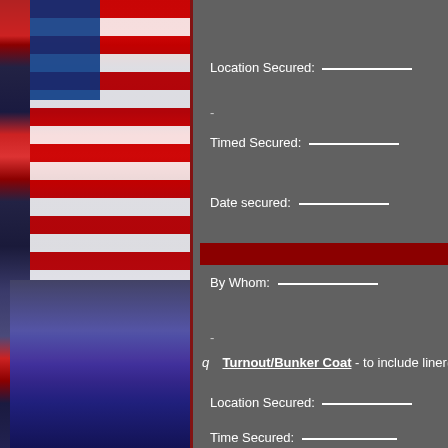[Figure (photo): Left side photo strip showing American flag with red and white stripes and blue canton, with a person in dark clothing below]
Location Secured: ___
-
Timed Secured: ___
Date secured: ___
By Whom: ___
-
q  Turnout/Bunker Coat - to include liner(
Location Secured: ___
Time Secured: ___